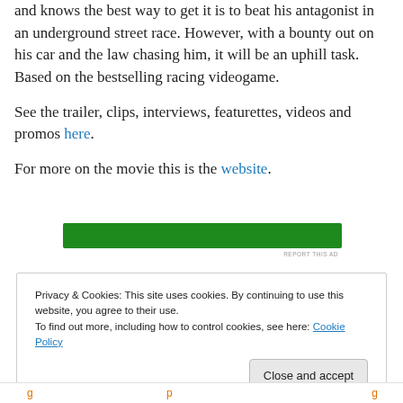and knows the best way to get it is to beat his antagonist in an underground street race. However, with a bounty out on his car and the law chasing him, it will be an uphill task. Based on the bestselling racing videogame.
See the trailer, clips, interviews, featurettes, videos and promos here.
For more on the movie this is the website.
[Figure (other): Green advertisement banner bar]
REPORT THIS AD
Privacy & Cookies: This site uses cookies. By continuing to use this website, you agree to their use.
To find out more, including how to control cookies, see here: Cookie Policy
Close and accept